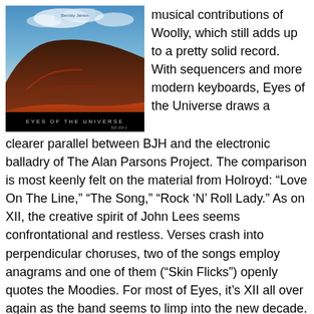[Figure (photo): Album cover for 'Eyes of the Universe' showing a dark reddish-brown hill/mountain landscape against a blue sky with clouds. Text at bottom reads 'EYES OF THE UNIVERSE'.]
musical contributions of Woolly, which still adds up to a pretty solid record. With sequencers and more modern keyboards, Eyes of the Universe draws a clearer parallel between BJH and the electronic balladry of The Alan Parsons Project. The comparison is most keenly felt on the material from Holroyd: “Love On The Line,” “The Song,” “Rock ‘N’ Roll Lady.” As on XII, the creative spirit of John Lees seems confrontational and restless. Verses crash into perpendicular choruses, two of the songs employ anagrams and one of them (“Skin Flicks”) openly quotes the Moodies. For most of Eyes, it’s XII all over again as the band seems to limp into the new decade. That is, until the end of Eyes, when Lees and Holroyd present a pair of nearly perfect, languid songs the recall the autumnal and eloquent Octoberon.